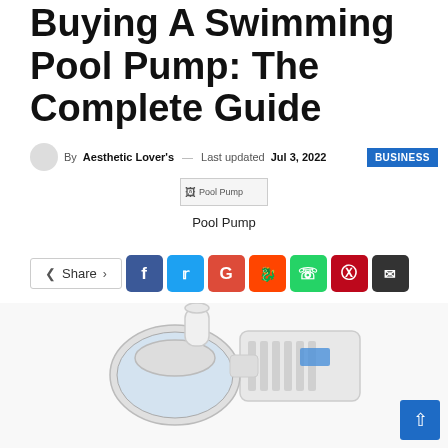Buying A Swimming Pool Pump: The Complete Guide
By Aesthetic Lover's — Last updated Jul 3, 2022  BUSINESS
[Figure (photo): Broken/placeholder image icon labeled 'Pool Pump']
Pool Pump
Share (social share buttons: Facebook, Twitter, Google+, Reddit, WhatsApp, Pinterest, Email)
[Figure (photo): White swimming pool pump with motor, transparent strainer basket and PVC pipe inlet, photographed on white background]